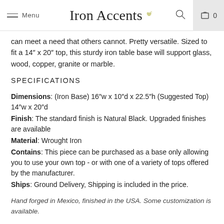Menu | Iron Accents | Search | Cart 0
can meet a need that others cannot. Pretty versatile. Sized to fit a 14″ x 20″ top, this sturdy iron table base will support glass, wood, copper, granite or marble.
SPECIFICATIONS
Dimensions: (Iron Base) 16″w x 10″d x 22.5″h (Suggested Top) 14″w x 20″d
Finish: The standard finish is Natural Black. Upgraded finishes are available
Material: Wrought Iron
Contains: This piece can be purchased as a base only allowing you to use your own top - or with one of a variety of tops offered by the manufacturer.
Ships: Ground Delivery, Shipping is included in the price.
Hand forged in Mexico, finished in the USA. Some customization is available.